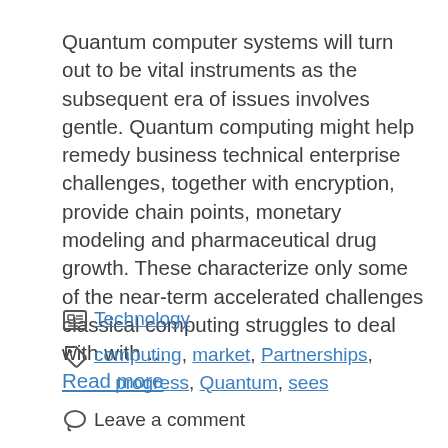Quantum computer systems will turn out to be vital instruments as the subsequent era of issues involves gentle. Quantum computing might help remedy business technical enterprise challenges, together with encryption, provide chain points, monetary modeling and pharmaceutical drug growth. These characterize only some of the near-term accelerated challenges classical computing struggles to deal with with … Read more
Technology
computing, market, Partnerships, progress, Quantum, sees
Leave a comment